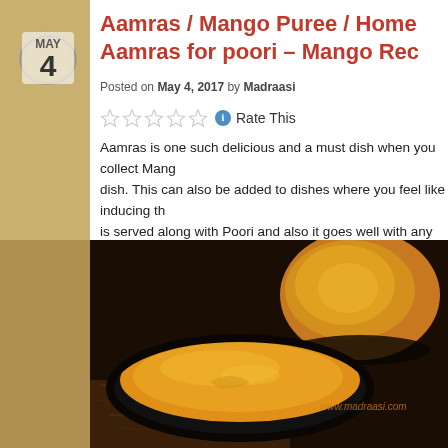[Figure (other): Calendar badge showing MAY 4 with hand-drawn circle]
Aamras / Mango Puree / Home... Aamras for poori – Mango Rec...
Posted on May 4, 2017 by Madraasi
Rate This
Aamras is one such delicious and a must dish when you collect Mang... dish. This can also be added to dishes where you feel like inducing the... is served along with Poori and also it goes well with any Indian flat b...
[Figure (photo): Photo of mango puree (aamras) in a black bowl with a whole mango in the background, on a dark wooden surface. Watermark: www.madraasi.com]